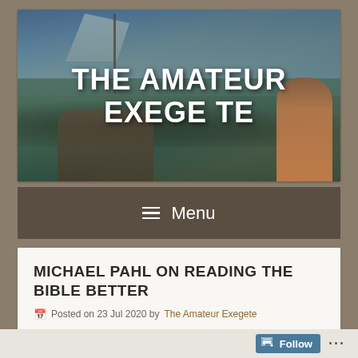[Figure (illustration): A classical oil painting depicting a stormy sea scene with a sailing ship, waves, figures in a boat, an angel figure in the center, and a figure in red robes on the right. Overlaid with large white bold text reading 'THE AMATEUR EXEGETE'.]
THE AMATEUR EXEGETE
≡ Menu
MICHAEL PAHL ON READING THE BIBLE BETTER
Posted on 23 Jul 2020 by The Amateur Exegete